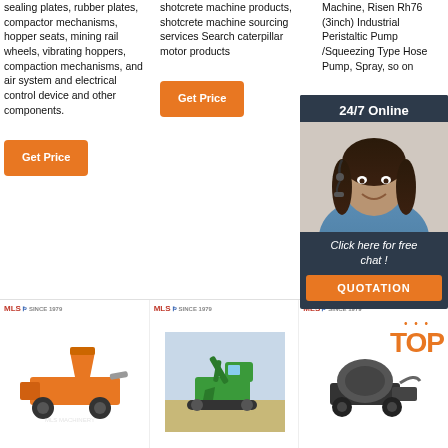sealing plates, rubber plates, compactor mechanisms, hopper seats, mining rail wheels, vibrating hoppers, compaction mechanisms, and air system and electrical control device and other components.
shotcrete machine products, shotcrete machine sourcing services Search caterpillar motor products
Machine, Risen Rh76 (3inch) Industrial Peristaltic Pump /Squeezing Type Hose Pump, Spray, so on
[Figure (screenshot): 24/7 Online chat popup with customer service agent photo, 'Click here for free chat!' text and QUOTATION button]
[Figure (photo): Product image of orange shotcrete/concrete machine with brand logo MLS SINCE 1974]
[Figure (photo): Product image of green excavator/construction equipment with brand logo MLS SINCE 1974]
[Figure (photo): Product image of concrete mixer machine with TOP badge and brand logo MLS SINCE 1974]